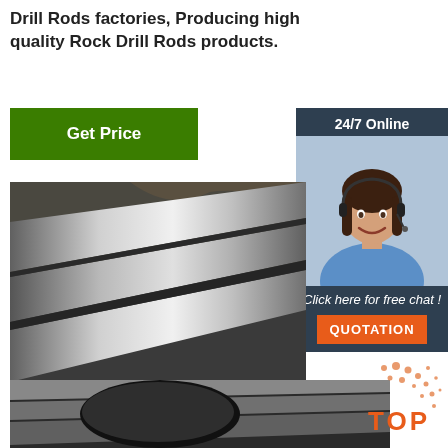Drill Rods factories, Producing high quality Rock Drill Rods products.
[Figure (other): Green 'Get Price' button]
[Figure (other): 24/7 Online chat sidebar with customer service representative photo, 'Click here for free chat!' text, and orange QUOTATION button]
[Figure (photo): Photo of multiple metallic rock drill rods lying parallel on a dark surface]
[Figure (logo): Orange TOP logo with dot pattern in bottom right corner]